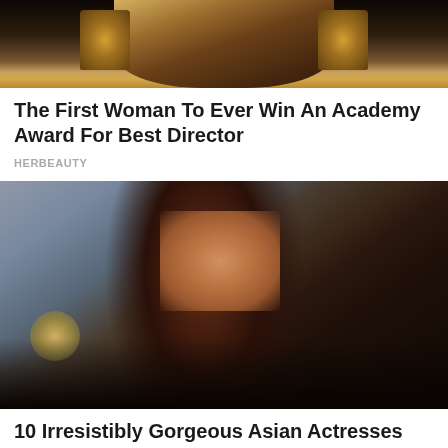[Figure (photo): Cropped photo of a woman holding two trophies/awards, wearing a dark outfit, dark background]
The First Woman To Ever Win An Academy Award For Best Director
HERBEAUTY
[Figure (photo): Photo of a woman with long brown hair, wearing a black choker necklace and dark top, shot in a studio/indoor setting with lamps visible in background]
10 Irresistibly Gorgeous Asian Actresses
BRAINBERRIES
[Figure (photo): Partial photo, cropped — green outdoor background, partial view of a person]